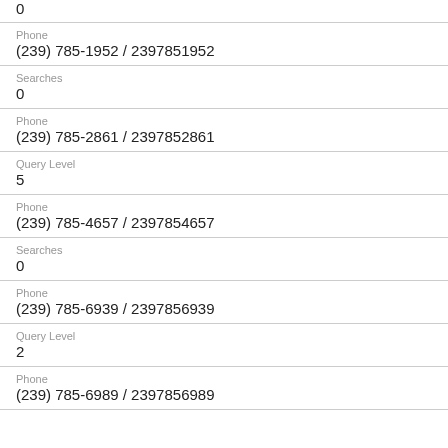0
Phone
(239) 785-1952 / 2397851952
Searches
0
Phone
(239) 785-2861 / 2397852861
Query Level
5
Phone
(239) 785-4657 / 2397854657
Searches
0
Phone
(239) 785-6939 / 2397856939
Query Level
2
Phone
(239) 785-6989 / 2397856989